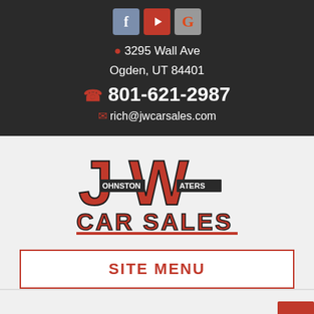[Figure (logo): Social media icons: Facebook (f), YouTube (play button), Google (G)]
3295 Wall Ave
Ogden, UT 84401
801-621-2987
rich@jwcarsales.com
[Figure (logo): JW Johnston Waters Car Sales logo in red and black]
SITE MENU
← Return to Inventory List
Text Us